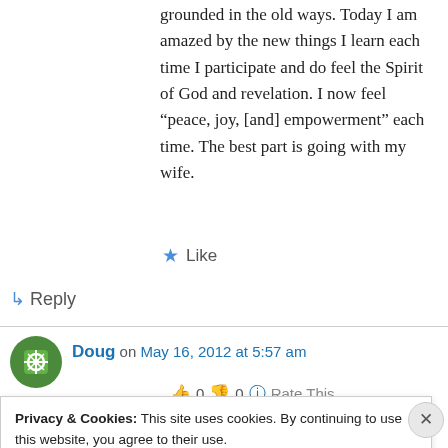grounded in the old ways. Today I am amazed by the new things I learn each time I participate and do feel the Spirit of God and revelation. I now feel “peace, joy, [and] empowerment” each time. The best part is going with my wife.
Like
Reply
Doug on May 16, 2012 at 5:57 am
0  0  Rate This
Privacy & Cookies: This site uses cookies. By continuing to use this website, you agree to their use.
To find out more, including how to control cookies, see here: Cookie Policy
Close and accept